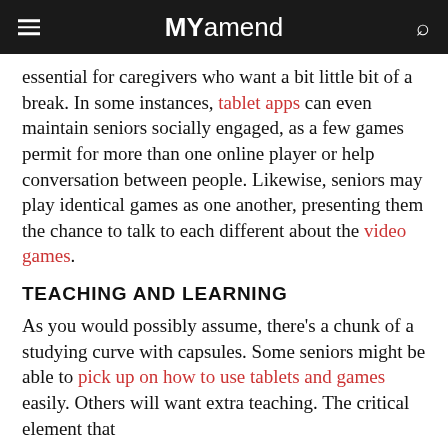MYamend
essential for caregivers who want a bit little bit of a break. In some instances, tablet apps can even maintain seniors socially engaged, as a few games permit for more than one online player or help conversation between people. Likewise, seniors may play identical games as one another, presenting them the chance to talk to each different about the video games.
TEACHING AND LEARNING
As you would possibly assume, there's a chunk of a studying curve with capsules. Some seniors might be able to pick up on how to use tablets and games easily. Others will want extra teaching. The critical element that